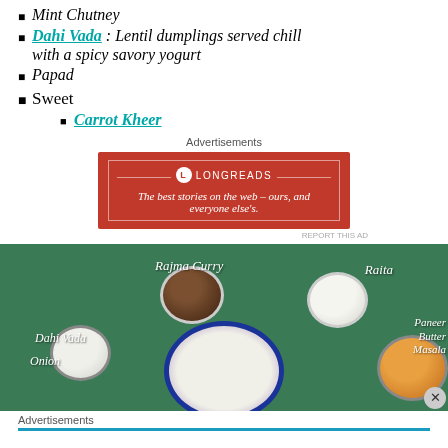Mint Chutney
Dahi Vada : Lentil dumplings served chill with a spicy savory yogurt
Papad
Sweet
Carrot Kheer
Advertisements
[Figure (other): Longreads advertisement banner in red: 'The best stories on the web – ours, and everyone else's.']
REPORT THIS AD
[Figure (photo): Photo of Indian food spread on a green cloth: bowls of Rajma Curry, Raita, Dahi Vada, Paneer Butter Masala, and a large plate, with labels for each dish and Onion visible bottom left.]
Advertisements